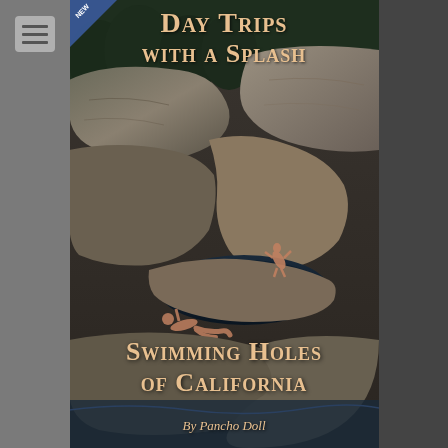[Figure (photo): Book cover of 'Day Trips with a Splash: Swimming Holes of California' by Pancho Doll. Shows a rocky swimming hole with large granite boulders. A person is diving/jumping into a natural pool carved into the rock. Another person is lying on the rocks in the foreground. The cover has warm tan/orange text on a dark rocky background.]
Day Trips with a Splash
Swimming Holes of California
By Pancho Doll